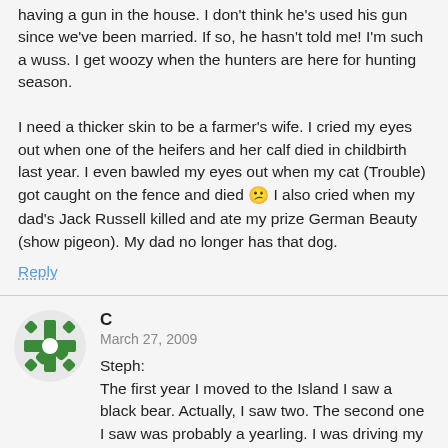having a gun in the house. I don't think he's used his gun since we've been married. If so, he hasn't told me! I'm such a wuss. I get woozy when the hunters are here for hunting season.

I need a thicker skin to be a farmer's wife. I cried my eyes out when one of the heifers and her calf died in childbirth last year. I even bawled my eyes out when my cat (Trouble) got caught on the fence and died 😕 I also cried when my dad's Jack Russell killed and ate my prize German Beauty (show pigeon). My dad no longer has that dog.
Reply
[Figure (illustration): Green and white snowflake/cross-shaped avatar icon for user C]
C
March 27, 2009
Steph:
The first year I moved to the Island I saw a black bear. Actually, I saw two. The second one I saw was probably a yearling. I was driving my mom somewhere and on the side of the road there was this funny looking dog. Ummm...that dog was actually a bear! LOL! My mom and I were both like, "Wow! That's the weirdest looking dog I've ever seen!" Oh wait...it's a bear! LOL! Can you tell we never saw a bear before (except on TV or the zoo!)?